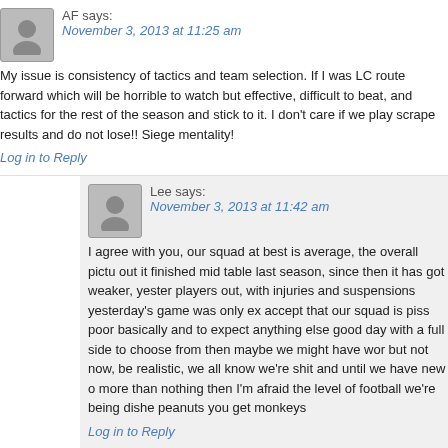AF says:
November 3, 2013 at 11:25 am
My issue is consistency of tactics and team selection. If I was LC route forward which will be horrible to watch but effective, difficult to beat, and tactics for the rest of the season and stick to it. I don't care if we play scrape results and do not lose!! Siege mentality!
Log in to Reply
Lee says:
November 3, 2013 at 11:42 am
I agree with you, our squad at best is average, the overall pictu out it finished mid table last season, since then it has got weaker, yester players out, with injuries and suspensions yesterday's game was only ex accept that our squad is piss poor basically and to expect anything else good day with a full side to choose from then maybe we might have wor but not now, be realistic, we all know we're shit and until we have new o more than nothing then I'm afraid the level of football we're being dishe peanuts you get monkeys
Log in to Reply
StaffsBlue says:
November 3, 2013 at 1:20 pm
I think that because of the level of player we have now, freebi the management certainly knew, that there would be ups and downs th be a struggle. I think that we've only played really p1ss-poor about 4 ti